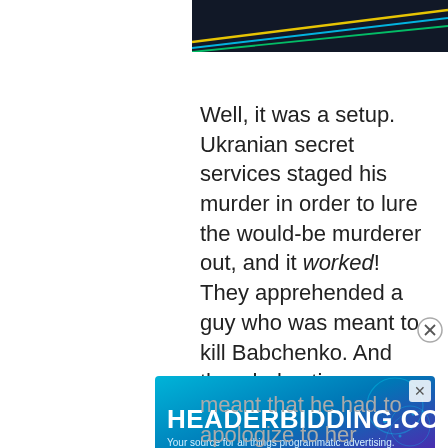[Figure (illustration): Header image with dark background and colored diagonal lines (yellow, green, blue) on the right side of the page top.]
Well, it was a setup. Ukranian secret services staged his murder in order to lure the would-be murderer out, and it worked! They apprehended a guy who was meant to kill Babchenko. And the whole sting operation was so secret that not even Babchenko's wife knew
[Figure (logo): HEADERBIDDING.COM advertisement banner. Text: HEADERBIDDING.COM - Your source for all things programmatic advertising.]
meant that he had to apologize to her